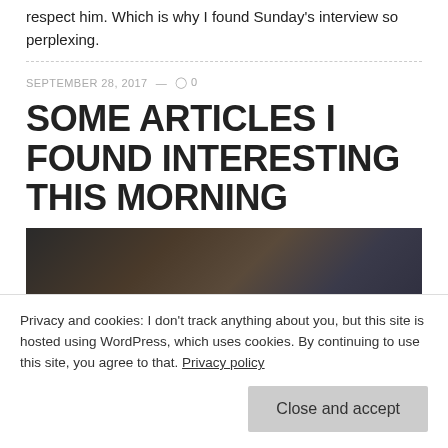respect him. Which is why I found Sunday's interview so perplexing.
SEPTEMBER 28, 2017 — ◯ 0
SOME ARTICLES I FOUND INTERESTING THIS MORNING
[Figure (photo): Dark scene showing armored figures, appears to be a fantasy or medieval setting]
Privacy and cookies: I don't track anything about you, but this site is hosted using WordPress, which uses cookies. By continuing to use this site, you agree to that. Privacy policy